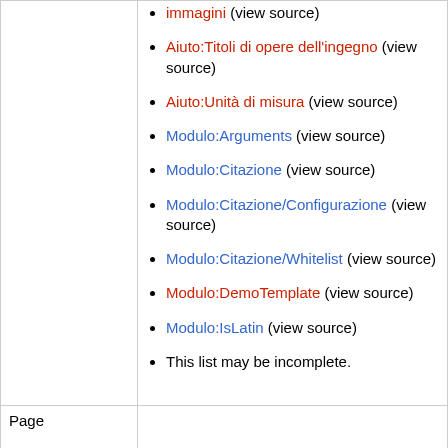immagini (view source)
Aiuto:Titoli di opere dell'ingegno (view source)
Aiuto:Unità di misura (view source)
Modulo:Arguments (view source)
Modulo:Citazione (view source)
Modulo:Citazione/Configurazione (view source)
Modulo:Citazione/Whitelist (view source)
Modulo:DemoTemplate (view source)
Modulo:IsLatin (view source)
This list may be incomplete.
Page